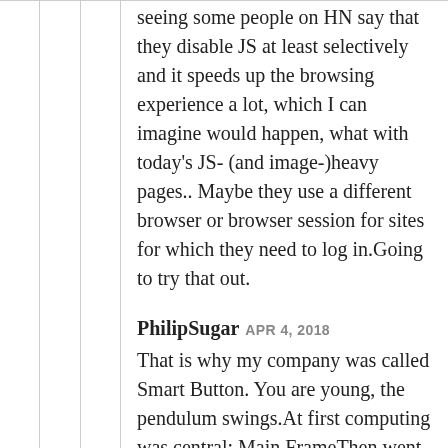seeing some people on HN say that they disable JS at least selectively and it speeds up the browsing experience a lot, which I can imagine would happen, what with today's JS- (and image-)heavy pages.. Maybe they use a different browser or browser session for sites for which they need to log in.Going to try that out.
PhilipSugar APR 4, 2018
That is why my company was called Smart Button. You are young, the pendulum swings.At first computing was central: Main FrameThen went distributed: Client ServerThen went central: Internet CloudAnd it keeps